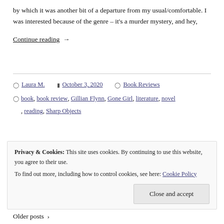by which it was another bit of a departure from my usual/comfortable. I was interested because of the genre – it's a murder mystery, and hey,
Continue reading →
Author: Laura M.  Date: October 3, 2020  Category: Book Reviews  Tags: book, book review, Gillian Flynn, Gone Girl, literature, novel, reading, Sharp Objects
Privacy & Cookies: This site uses cookies. By continuing to use this website, you agree to their use.
To find out more, including how to control cookies, see here: Cookie Policy
Close and accept
Older posts →